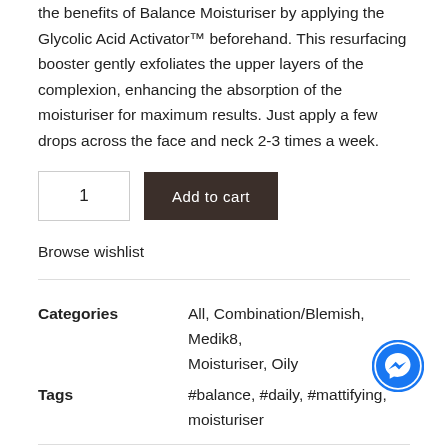the benefits of Balance Moisturiser by applying the Glycolic Acid Activator™ beforehand. This resurfacing booster gently exfoliates the upper layers of the complexion, enhancing the absorption of the moisturiser for maximum results. Just apply a few drops across the face and neck 2-3 times a week.
1  Add to cart
Browse wishlist
Categories: All, Combination/Blemish, Medik8, Moisturiser, Oily
Tags: #balance, #daily, #mattifying, moisturiser